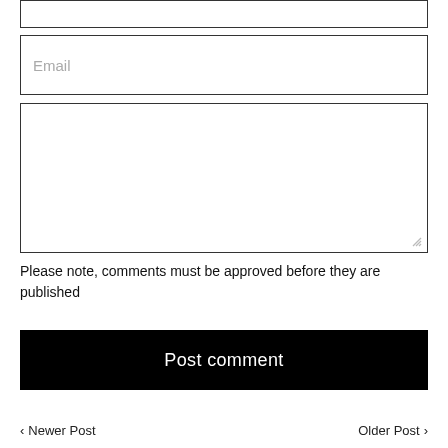Email
Please note, comments must be approved before they are published
Post comment
< Newer Post    Older Post >